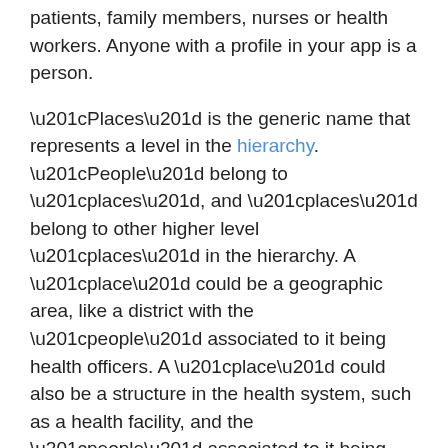patients, family members, nurses or health workers. Anyone with a profile in your app is a person.
“Places” is the generic name that represents a level in the hierarchy. “People” belong to “places”, and “places” belong to other higher level “places” in the hierarchy. A “place” could be a geographic area, like a district with the “people” associated to it being health officers. A “place” could also be a structure in the health system, such as a health facility, and the “people” associated to it being nurses. In deployments with CHWs, the lowest “place” in the hierarchy often represents individual households or families, and the individual members of that household are the “people” associated to it.
Users can access their “people” and “places” from the People tab. The permissions set for your role and your placement in the hierarchy will determine which contacts you’re able to see. Advanced configuration options are available for a specific offline user role to